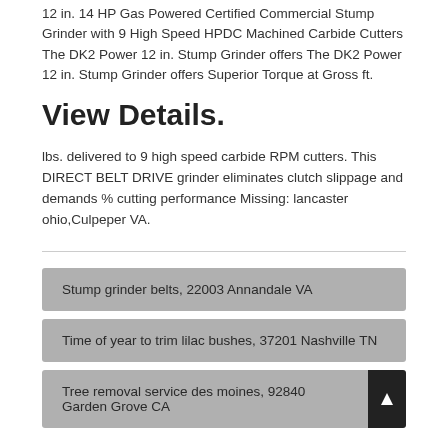12 in. 14 HP Gas Powered Certified Commercial Stump Grinder with 9 High Speed HPDC Machined Carbide Cutters The DK2 Power 12 in. Stump Grinder offers The DK2 Power 12 in. Stump Grinder offers Superior Torque at Gross ft.
View Details.
lbs. delivered to 9 high speed carbide RPM cutters. This DIRECT BELT DRIVE grinder eliminates clutch slippage and demands % cutting performance Missing: lancaster ohio,Culpeper VA.
Stump grinder belts, 22003 Annandale VA
Time of year to trim lilac bushes, 37201 Nashville TN
Tree removal service des moines, 92840 Garden Grove CA